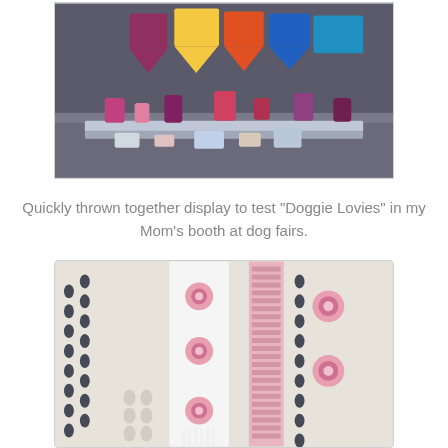[Figure (photo): A display booth with colorful dog bandanas and pet accessories hanging on a dark board, with items laid out on a table below.]
Quickly thrown together display to test "Doggie Lovies" in my Mom's booth at dog fairs.
[Figure (photo): Close-up of white and pink crocheted knitted items including a scarf with pink flower motifs and a knitted garment with floral pattern details.]